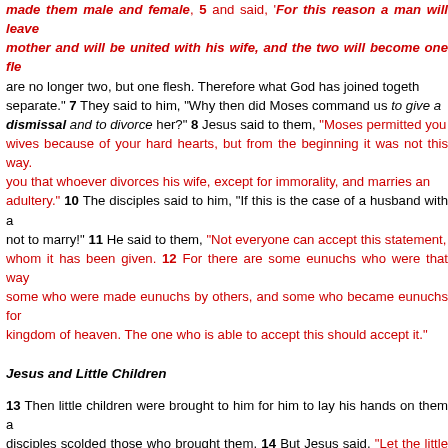made them male and female, 5 and said, 'For this reason a man will leave his mother and will be united with his wife, and the two will become one flesh.' are no longer two, but one flesh. Therefore what God has joined together, separate.' 7 They said to him, 'Why then did Moses command us to give a dismissal and to divorce her?' 8 Jesus said to them, 'Moses permitted you wives because of your hard hearts, but from the beginning it was not this way. you that whoever divorces his wife, except for immorality, and marries an adultery.' 10 The disciples said to him, 'If this is the case of a husband with a not to marry!' 11 He said to them, 'Not everyone can accept this statement, whom it has been given. 12 For there are some eunuchs who were that way some who were made eunuchs by others, and some who became eunuchs for kingdom of heaven. The one who is able to accept this should accept it.'
Jesus and Little Children
13 Then little children were brought to him for him to lay his hands on them and disciples scolded those who brought them. 14 But Jesus said, 'Let the little c me and do not try to stop them, for the kingdom of heaven belongs to such as he placed his hands on them and went on his way.
The Rich Young Man